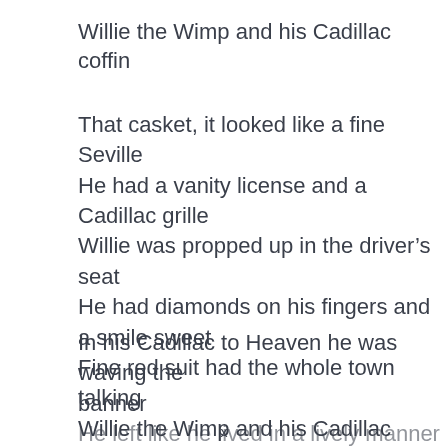Willie the Wimp and his Cadillac coffin
That casket, it looked like a fine Seville
He had a vanity license and a Cadillac grille
Willie was propped up in the driver’s seat
He had diamonds on his fingers and a smile sweet
Fine red suit had the whole town talking
Willie the Wimp and his Cadillac coffin
Yeah, Willie the Wimp and his Cadillac coffin
In his Cadillac to Heaven he was waving the banner
He left like he lived in a lively manner